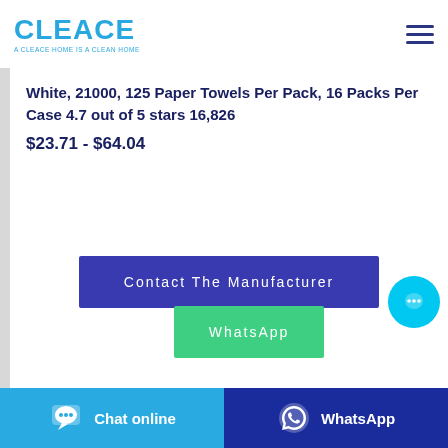[Figure (logo): CLEACE logo in blue with tagline 'A CLEACE HOME IS A CLEAN HOME']
White, 21000, 125 Paper Towels Per Pack, 16 Packs Per Case 4.7 out of 5 stars 16,826
$23.71 - $64.04
Contact The Manufacturer
WhatsApp
Chat online
WhatsApp